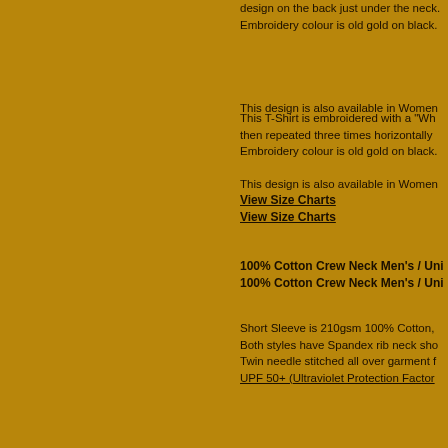design on the back just under the neck. Embroidery colour is old gold on black.
This design is also available in Women's styles.
View Size Charts
100% Cotton Crew Neck Men's / Uni 100% Cotton Crew Neck Men's / Uni
Short Sleeve is 210gsm 100% Cotton, Both styles have Spandex rib neck sho Twin needle stitched all over garment f UPF 50+ (Ultraviolet Protection Factor
This T-Shirt is embroidered with a "Wh then repeated three times horizontally Embroidery colour is old gold on black.
This design is also available in Women's styles.
View Size Charts